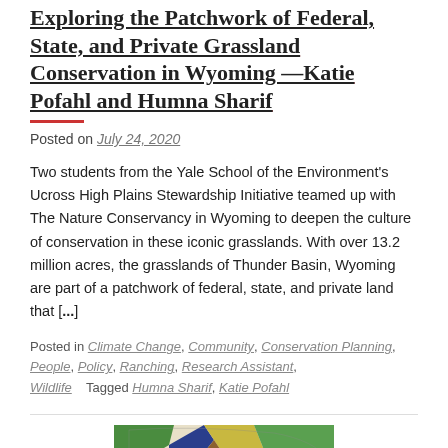Exploring the Patchwork of Federal, State, and Private Grassland Conservation in Wyoming—Katie Pofahl and Humna Sharif
Posted on July 24, 2020
Two students from the Yale School of the Environment's Ucross High Plains Stewardship Initiative teamed up with The Nature Conservancy in Wyoming to deepen the culture of conservation in these iconic grasslands. With over 13.2 million acres, the grasslands of Thunder Basin, Wyoming are part of a patchwork of federal, state, and private land that [...]
Posted in Climate Change, Community, Conservation Planning, People, Policy, Ranching, Research Assistant, Wildlife  Tagged Humna Sharif, Katie Pofahl
[Figure (map): Partial view of a colorful map showing land ownership patterns, cropped at bottom of page]